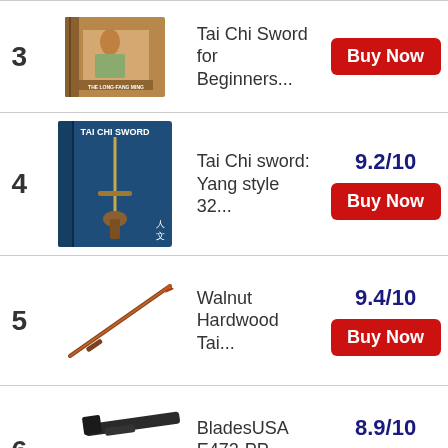| Rank | Image | Title | Score/Action |
| --- | --- | --- | --- |
| 3 | [book image] | Tai Chi Sword for Beginners... | Buy Now |
| 4 | [Tai Chi Sword book cover] | Tai Chi sword: Yang style 32... | 9.2/10 | Buy Now |
| 5 | [sword image] | Walnut Hardwood Tai... | 9.4/10 | Buy Now |
| 6 | [martial arts weapons] | BladesUSA E472-PP Mart... | 8.9/10 | Buy Now |